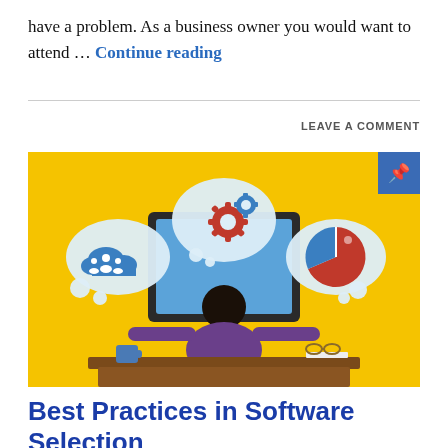have a problem. As a business owner you would want to attend … Continue reading
LEAVE A COMMENT
[Figure (illustration): Illustration of a person sitting at a desk in front of a monitor, with three speech bubbles containing icons: a cloud with people (team/cloud icon), a gear/settings icon, and a pie chart icon. Yellow background.]
Best Practices in Software Selection